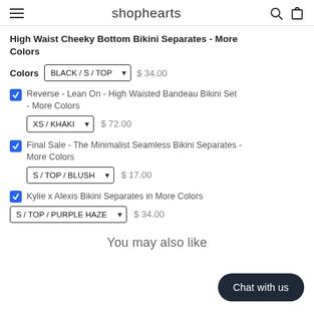shophearts
High Waist Cheeky Bottom Bikini Separates - More Colors
Colors BLACK / S / TOP $34.00
Reverse - Lean On - High Waisted Bandeau Bikini Set - More Colors XS / KHAKI $72.00
Final Sale - The Minimalist Seamless Bikini Separates - More Colors S / TOP / BLUSH $17.00
Kylie x Alexis Bikini Separates in More Colors S / TOP / PURPLE HAZE $34.00
You may also like
Chat with us